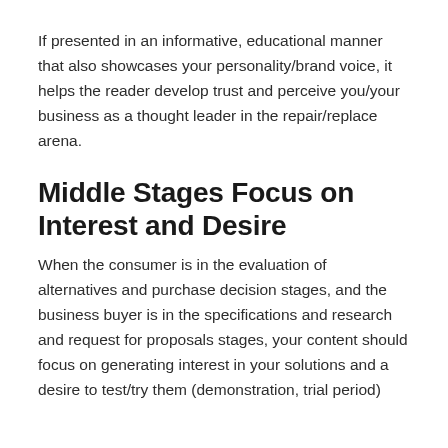If presented in an informative, educational manner that also showcases your personality/brand voice, it helps the reader develop trust and perceive you/your business as a thought leader in the repair/replace arena.
Middle Stages Focus on Interest and Desire
When the consumer is in the evaluation of alternatives and purchase decision stages, and the business buyer is in the specifications and research and request for proposals stages, your content should focus on generating interest in your solutions and a desire to test/try them (demonstration, trial period)